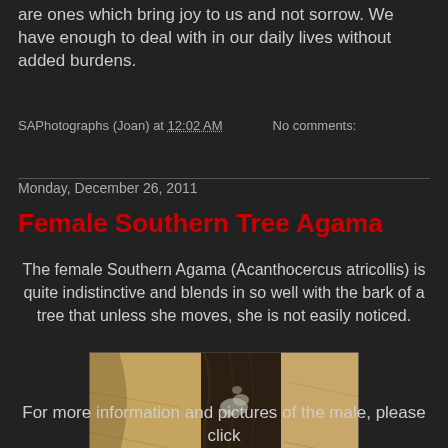are ones which bring joy to us and not sorrow. We have enough to deal with in our daily lives without added burdens.
SAPhotographs (Joan) at 12:02 AM    No comments:
Monday, December 26, 2011
Female Southern Tree Agama
The female Southern Agama (Acanthocercus atricollis) is quite indistinctive and blends in so well with the bark of a tree that unless she moves, she is not easily noticed.
[Figure (photo): A female Southern Tree Agama camouflaged against the bark of a tree, with dry grass visible in the background. Watermark reads Joan Young 2011.]
For more information and pictures of the male, please click